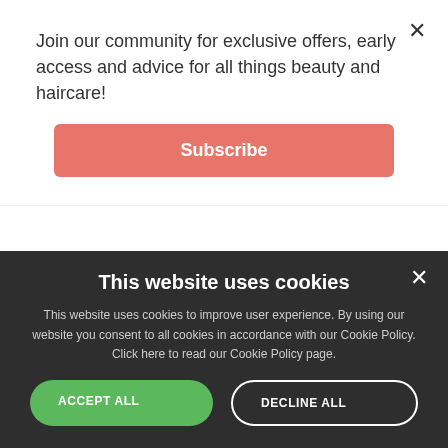Join our community for exclusive offers, early access and advice for all things beauty and haircare!
Subscribe
Exceptional A that Invisiband. Bonus: say obviously lash bands ruin an otherwise sensational look! Now you can enjoy a seamless, comfortable, and secure faux lash fit with the patented Invisiband technology.
About Ardell Lashes
Ardell Lashes have been around for half a century now, and
This website uses cookies
This website uses cookies to improve user experience. By using our website you consent to all cookies in accordance with our Cookie Policy. Click here to read our Cookie Policy page.
ACCEPT ALL
DECLINE ALL